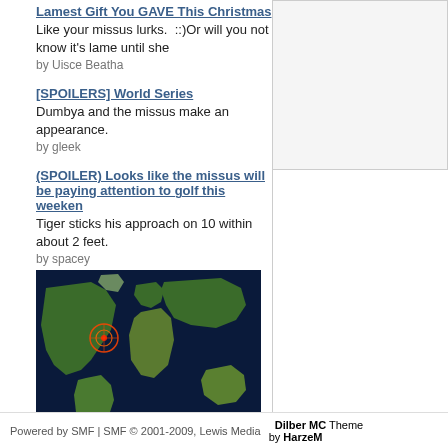Lamest Gift You GAVE This Christmas
Like your missus lurks.  ::)Or will you not know it's lame until she
by Uisce Beatha
[SPOILERS] World Series
Dumbya and the missus make an appearance.
by gleek
(SPOILER) Looks like the missus will be paying attention to golf this weeken
Tiger sticks his approach on 10 within about 2 feet.
by spacey
[Figure (map): World map with dark blue ocean background showing continents in green/brown tones, with a target/radar marker on the Atlantic near North America. RM logo in lower left corner.]
Powered by SMF | SMF © 2001-2009, Lewis Media   Dilber MC Theme by HarzeM